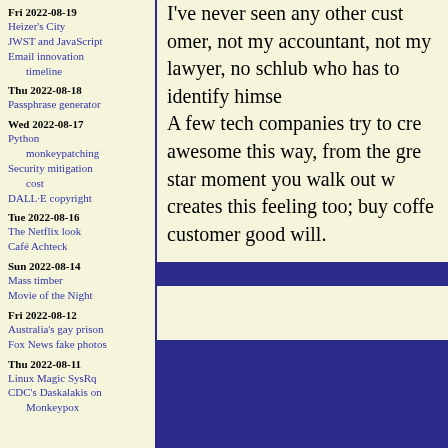Fri 2022-08-19
Heizer's City
JWST and JavaScript
Email innovation timeline
Thu 2022-08-18
Passphrase generator
Wed 2022-08-17
Python monkeypatching
Security mitigation cost
DALL·E copyright
Tue 2022-08-16
The Netflix look
Café Achteck
Sun 2022-08-14
Mass timber
Movie of the Night
Fri 2022-08-12
Australia's gay prison
Fox News fake photos
Thu 2022-08-11
Linux Magic SysRq
CDC's Daskalakis on Monkeypox
I've never seen any other customer, not my accountant, not my lawyer, not any schlub who has to identify himself...
A few tech companies try to create awesome this way, from the great star moment you walk out with, creates this feeling too; buy coffee customer good will.